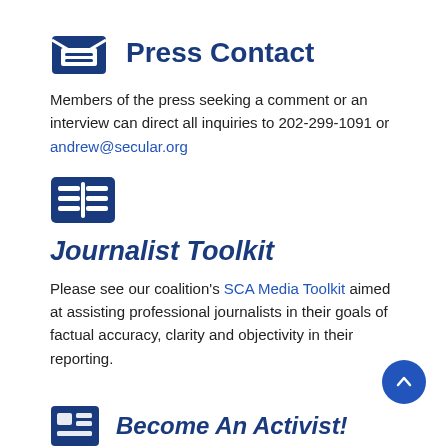Press Contact
Members of the press seeking a comment or an interview can direct all inquiries to 202-299-1091 or andrew@secular.org
[Figure (other): Blue newspaper/article icon for Journalist Toolkit section]
Journalist Toolkit
Please see our coalition's SCA Media Toolkit aimed at assisting professional journalists in their goals of factual accuracy, clarity and objectivity in their reporting.
Become An Activist!